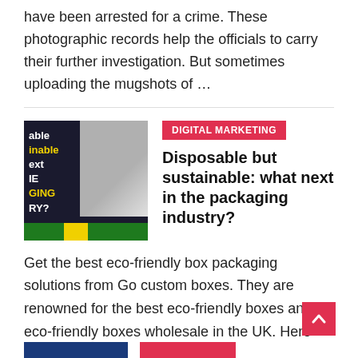have been arrested for a crime. These photographic records help the officials to carry their further investigation. But sometimes uploading the mugshots of …
[Figure (photo): Thumbnail image for article about disposable sustainable packaging industry, showing eco-friendly containers with dark overlay text]
DIGITAL MARKETING
Disposable but sustainable: what next in the packaging industry?
Get the best eco-friendly box packaging solutions from Go custom boxes. They are renowned for the best eco-friendly boxes and eco-friendly boxes wholesale in the UK. Here you will find …